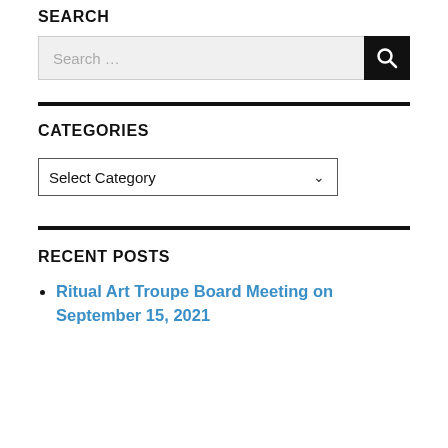SEARCH
[Figure (other): Search input field with placeholder 'Search ...' and a black search button with magnifying glass icon]
CATEGORIES
[Figure (other): Dropdown select box labeled 'Select Category' with a chevron arrow on the right]
RECENT POSTS
Ritual Art Troupe Board Meeting on September 15, 2021